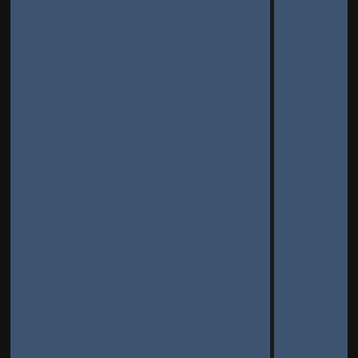576 replies | 47614 view(s)
[Figure (illustration): Small thumbnail image showing a wide-brimmed straw hat with a stick or cane, with handwritten-style text overlay]
Yesterday, 0 PM